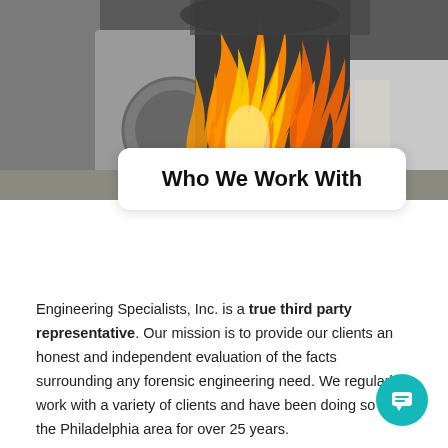[Figure (photo): A washing machine or appliance on fire with large orange flames in an indoor setting]
Who We Work With
Engineering Specialists, Inc. is a true third party representative. Our mission is to provide our clients an honest and independent evaluation of the facts surrounding any forensic engineering need. We regularly work with a variety of clients and have been doing so in the Philadelphia area for over 25 years.
Unbiased and scientifically